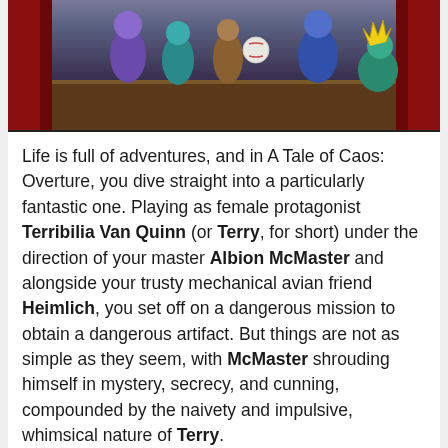[Figure (illustration): A colorful illustrated scene showing a group of animated/cartoon-style characters including fantasy and mechanical characters on a wooden stage with a red curtain backdrop.]
Life is full of adventures, and in A Tale of Caos: Overture, you dive straight into a particularly fantastic one. Playing as female protagonist Terribilia Van Quinn (or Terry, for short) under the direction of your master Albion McMaster and alongside your trusty mechanical avian friend Heimlich, you set off on a dangerous mission to obtain a dangerous artifact. But things are not as simple as they seem, with McMaster shrouding himself in mystery, secrecy, and cunning, compounded by the naivety and impulsive, whimsical nature of Terry.
Read More